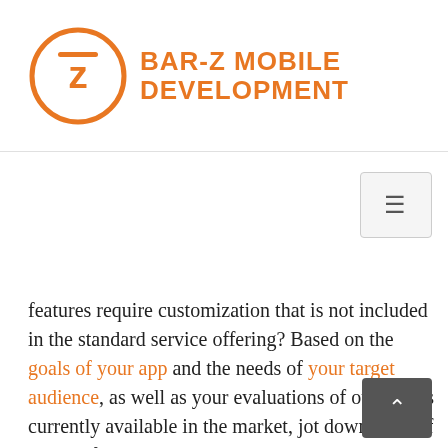BAR-Z MOBILE DEVELOPMENT
features require customization that is not included in the standard service offering? Based on the goals of your app and the needs of your target audience, as well as your evaluations of other apps currently available in the market, jot down a list of desired features to use as a guide when reviewing the feature sets offered by different mobile developers. Full multimedia support, social media integration, topic or location-based push notifications, integrated mapping and location-based features, digital coupons, polls and voting, monetization and advertising options, “report a problem” submissions and support for user-generated